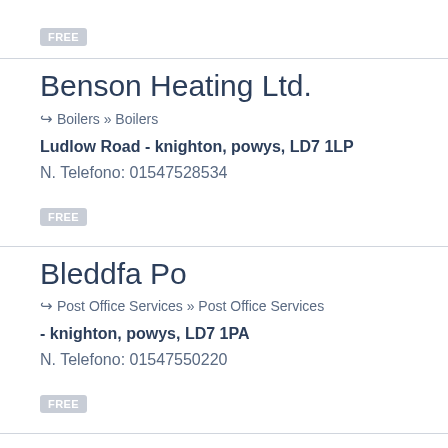FREE
Benson Heating Ltd.
Boilers » Boilers
Ludlow Road - knighton, powys, LD7 1LP
N. Telefono: 01547528534
FREE
Bleddfa Po
Post Office Services » Post Office Services
- knighton, powys, LD7 1PA
N. Telefono: 01547550220
FREE
Border Counties Agriculture